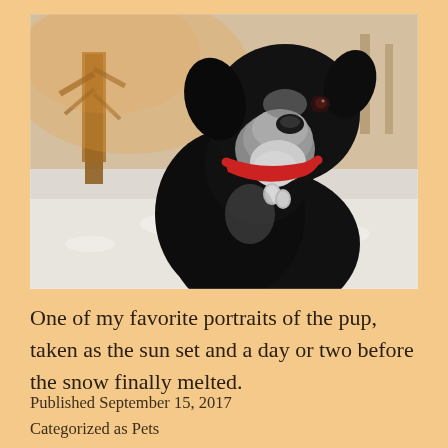[Figure (photo): A black senior dog with a graying muzzle wearing a red collar with a tag, photographed against a snowy winter background with warm golden trees at sunset.]
One of my favorite portraits of the pup, taken as the sun set and a day or two before the snow finally melted.
Published September 15, 2017
Categorized as Pets